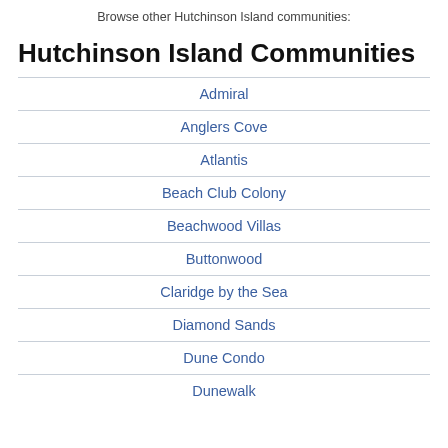Browse other Hutchinson Island communities:
Hutchinson Island Communities
Admiral
Anglers Cove
Atlantis
Beach Club Colony
Beachwood Villas
Buttonwood
Claridge by the Sea
Diamond Sands
Dune Condo
Dunewalk